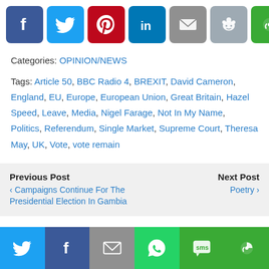[Figure (infographic): Row of social media share buttons: Facebook (blue), Twitter (light blue), Pinterest (red), LinkedIn (blue), Email (gray), Reddit (blue-gray), Flipboard/other (green)]
Categories: OPINION/NEWS
Tags: Article 50, BBC Radio 4, BREXIT, David Cameron, England, EU, Europe, European Union, Great Britain, Hazel Speed, Leave, Media, Nigel Farage, Not In My Name, Politics, Referendum, Single Market, Supreme Court, Theresa May, UK, Vote, vote remain
Previous Post
‹ Campaigns Continue For The Presidential Election In Gambia
Next Post
Poetry ›
[Figure (infographic): Bottom bar of social media share buttons: Twitter, Facebook, Email, WhatsApp, SMS, Flipboard/other]